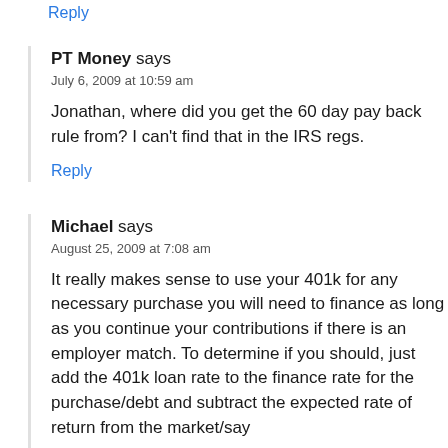Reply
PT Money says
July 6, 2009 at 10:59 am
Jonathan, where did you get the 60 day pay back rule from? I can't find that in the IRS regs.
Reply
Michael says
August 25, 2009 at 7:08 am
It really makes sense to use your 401k for any necessary purchase you will need to finance as long as you continue your contributions if there is an employer match. To determine if you should, just add the 401k loan rate to the finance rate for the purchase/debt and subtract the expected rate of return from the market/say